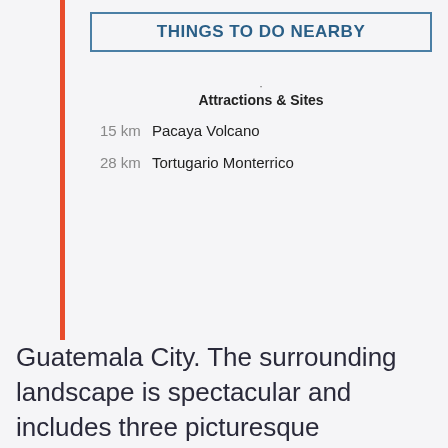THINGS TO DO NEARBY
Attractions & Sites
15 km Pacaya Volcano
28 km Tortugario Monterrico
Guatemala City. The surrounding landscape is spectacular and includes three picturesque volcanoes—the forests that blanket the volcanoes provide awesome terrain for hiking, horseback riding, and mountain biking. Within the city, travelers can enjoy cultural attractions like 17th-century churches and impressive museums. There are also a solid variety of restaurants and shops here.